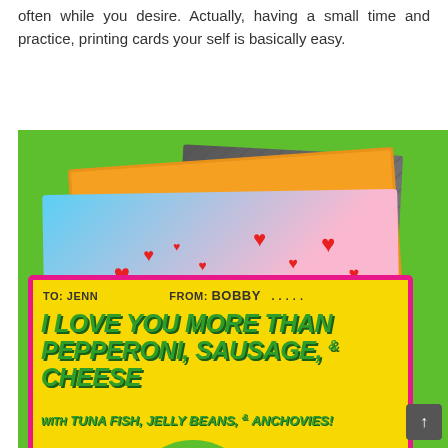often while you desire. Actually, having a small time and practice, printing cards your self is basically easy.
[Figure (photo): A photo showing multiple Teenage Mutant Ninja Turtles Valentine's Day cards fanned out on a green background. The front card is yellow with a pink border reading 'TO: JENN FROM: BOBBY I LOVE YOU MORE THAN PEPPERONI, SAUSAGE, & CHEESE WITH TUNA FISH, JELLY BEANS, & ANCHOVIES!' with a TMNT character wearing heart-shaped pink glasses. Behind it are a blue/pink card reading 'THIS IS BEING A CARD' and an orange card with TO: and FROM: fields.]